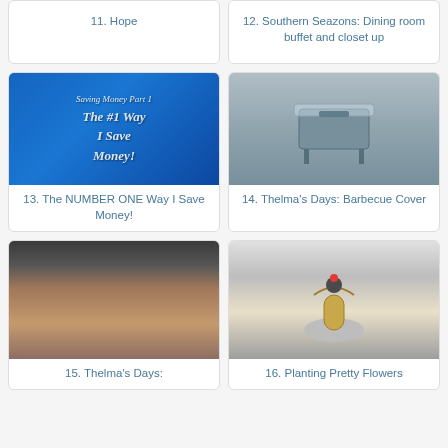11. Hope
12. Southern Seazons: Dining room buffet and closet up
[Figure (photo): Blue container with coins and dollar bills, with cursive text overlay: Saving Money Part 1, The #1 Way I Save Money!]
13. The NUMBER ONE Way I Save Money!
[Figure (photo): Barbecue grill covered with a plastic/clear cover]
14. Thelma's Days: Barbecue Cover
[Figure (photo): Baked bread rolls in a glass baking dish on an oven rack]
15. Thelma's Days:
[Figure (photo): Golden teapot used as a planter with a small red flower, placed on a white decorative stand outside]
16. Planting Pretty Flowers